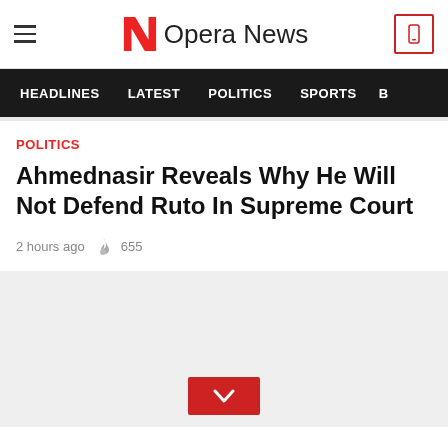Opera News
HEADLINES  LATEST  POLITICS  SPORTS  B
POLITICS
Ahmednasir Reveals Why He Will Not Defend Ruto In Supreme Court
2 hours ago  655
[Figure (other): Advertisement or content image placeholder with gray background and red chevron/down button at bottom center]